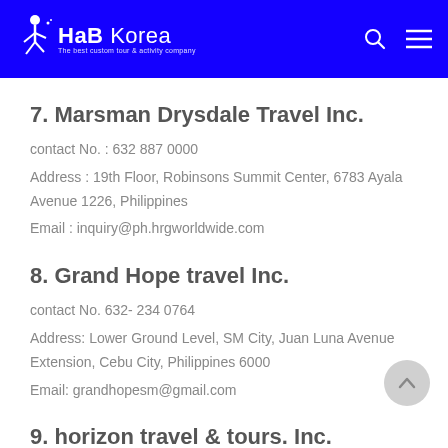HaB Korea — The best custom tour & activity company
7. Marsman Drysdale Travel Inc.
contact No. : 632 887 0000
Address : 19th Floor, Robinsons Summit Center, 6783 Ayala Avenue 1226, Philippines
Email : inquiry@ph.hrgworldwide.com
8. Grand Hope travel Inc.
contact No. 632- 234 0764
Address: Lower Ground Level, SM City, Juan Luna Avenue Extension, Cebu City, Philippines 6000
Email: grandhopesm@gmail.com
9. horizon travel & tours. Inc.